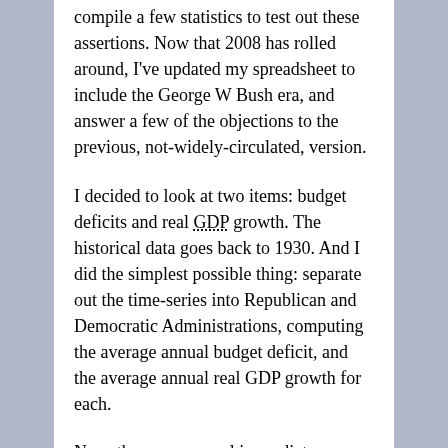compile a few statistics to test out these assertions. Now that 2008 has rolled around, I've updated my spreadsheet to include the George W Bush era, and answer a few of the objections to the previous, not-widely-circulated, version.
I decided to look at two items: budget deficits and real GDP growth. The historical data goes back to 1930. And I did the simplest possible thing: separate out the time-series into Republican and Democratic Administrations, computing the average annual budget deficit, and the average annual real GDP growth for each.
Now, there are several immediate objections you could raise.